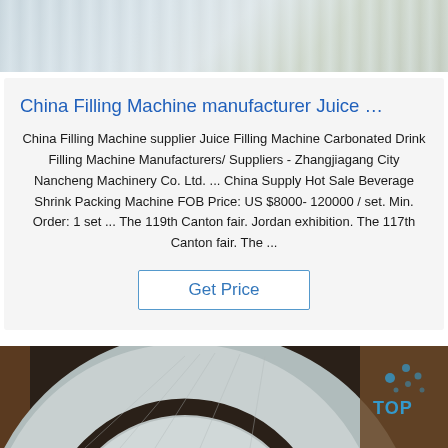[Figure (photo): Top portion of a product photo showing packaging or film material with light reflections]
China Filling Machine manufacturer Juice …
China Filling Machine supplier Juice Filling Machine Carbonated Drink Filling Machine Manufacturers/ Suppliers - Zhangjiagang City Nancheng Machinery Co. Ltd. ... China Supply Hot Sale Beverage Shrink Packing Machine FOB Price: US $8000-120000 / set. Min. Order: 1 set ... The 119th Canton fair. Jordan exhibition. The 117th Canton fair. The ...
Get Price
[Figure (photo): Bottom photo showing a large metallic roll or coil of material on a wooden surface, with a TOP watermark logo in blue]